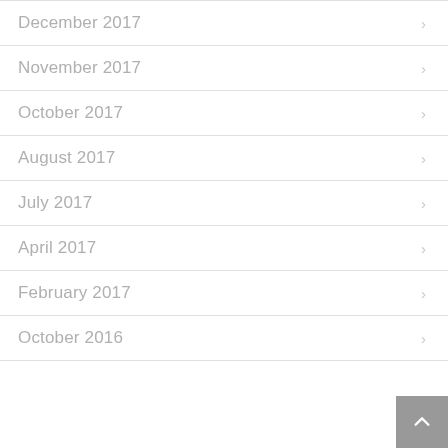December 2017
November 2017
October 2017
August 2017
July 2017
April 2017
February 2017
October 2016